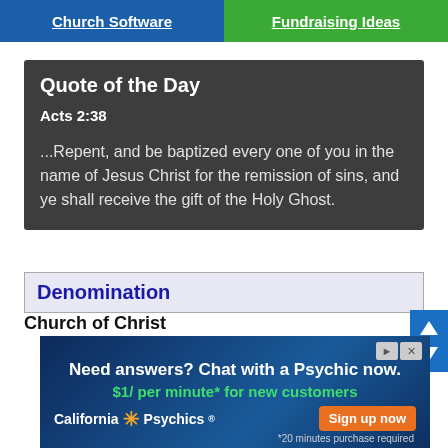Church Software | Fundraising Ideas
Quote of the Day
Acts 2:38
...Repent, and be baptized every one of you in the name of Jesus Christ for the remission of sins, and ye shall receive the gift of the Holy Ghost.
Denomination
Church of Christ
[Figure (infographic): Advertisement for California Psychics: 'Need answers? Chat with a Psychic now. $1/ per minute* for new customers. Sign up now. *20 minutes purchase required']